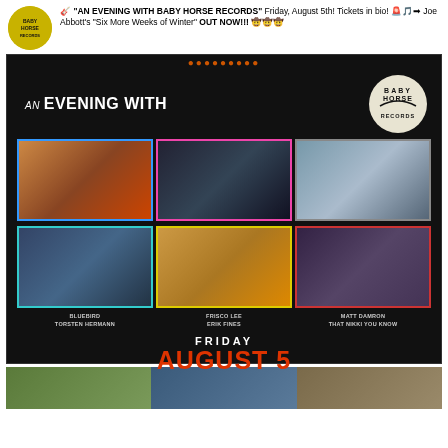🎸 "AN EVENING WITH BABY HORSE RECORDS" Friday, August 5th! Tickets in bio! 🚨🎵➡ Joe Abbott's "Six More Weeks of Winter" OUT NOW!!! 🤠🤠🤠
[Figure (infographic): Event poster for 'An Evening With Baby Horse Records' on Friday August 5. Black background with Baby Horse Records logo (circular). Six artist photos in two rows of three, bordered in blue, pink, teal (top row) and teal, yellow, red (bottom row). Artists labeled: Bluebird / Torsten Hermann, Frisco Lee / Erik Fines, Matt Damron / That Nikki You Know. Date: Friday August 5 in large red text.]
[Figure (photo): Partial bottom strip showing outdoor scene, partially visible.]